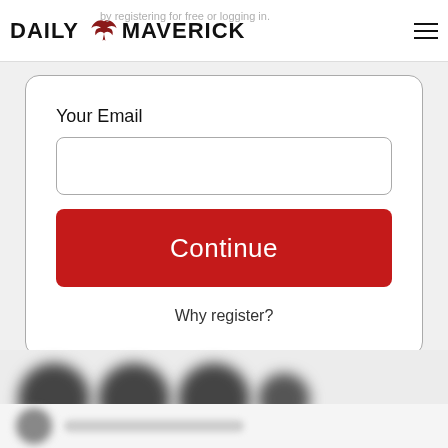DAILY MAVERICK
by registering for free or logging in.
Your Email
[Figure (screenshot): Email input text field, empty, with rounded border]
[Figure (screenshot): Red Continue button]
Why register?
[Figure (photo): Blurred content below the registration modal — appears to show blurred avatar icons and text, likely a comment section or article list]